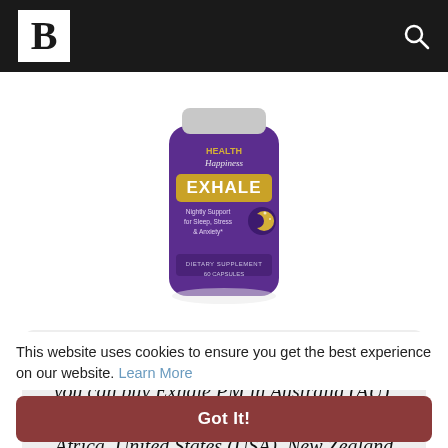B [logo] [search icon]
[Figure (photo): Purple cylindrical supplement bottle labeled 'Health Happiness EXHALE - Nightly Support for Sleep, Stress & Anxiety - Dietary Supplement Capsules']
Exhale PM is not available on amazon. But you can buy Exhale PM in Australia (AU), Canada (CA), United Kingdom (UK), South Africa, United States (USA), New Zealand
This website uses cookies to ensure you get the best experience on our website. Learn More
Got It!